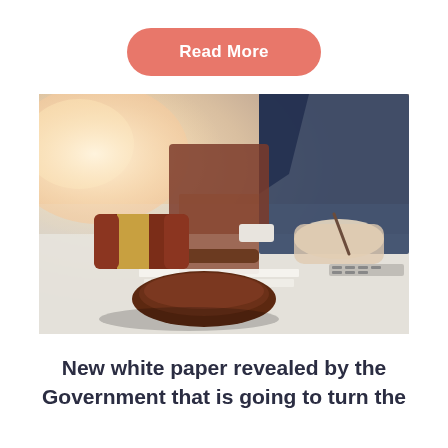Read More
[Figure (photo): A judge's wooden gavel with gold band resting on its round sound block in the foreground, with a person in a business suit writing on paper near a laptop in the background. Warm light in the upper left. Legal/courtroom theme.]
New white paper revealed by the Government that is going to turn the